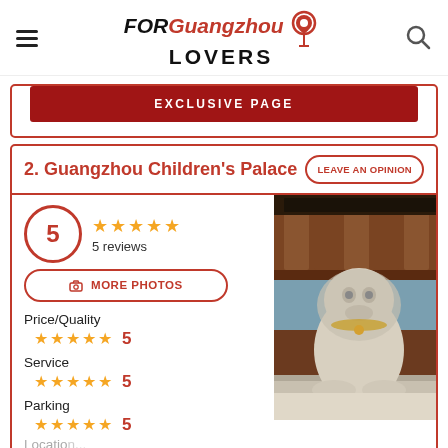FORGuangzhouLOVERS
EXCLUSIVE PAGE
2. Guangzhou Children's Palace
LEAVE AN OPINION
5
5 reviews
Price/Quality 5
Service 5
Parking 5
[Figure (photo): Photo of a stone lion statue in front of a traditional Chinese wooden building at Guangzhou Children's Palace]
MORE PHOTOS